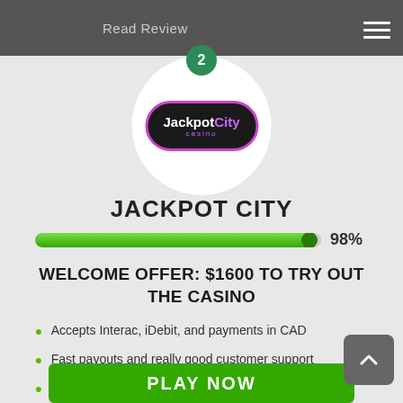Read Review
[Figure (logo): JackpotCity Casino logo — dark oval with purple border, white text 'JackpotCity' and purple 'casino' text below, inside white circle with number badge '2']
JACKPOT CITY
[Figure (infographic): Green progress bar at 98%]
WELCOME OFFER: $1600 TO TRY OUT THE CASINO
Accepts Interac, iDebit, and payments in CAD
Fast payouts and really good customer support
Impressive welcome offer with 4 bonuses
PLAY NOW